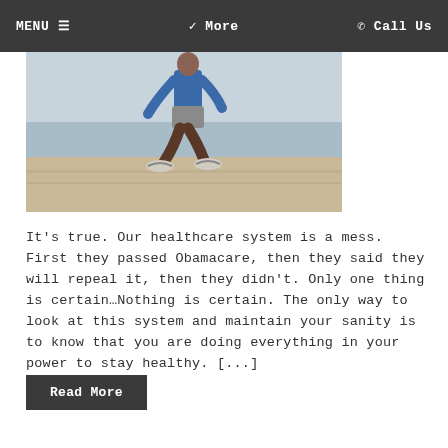MENU ≡   ✓ More   ☎ Call Us
[Figure (photo): A person running on a beach, wearing a blue long-sleeve shirt and grey shorts with athletic shoes. The background shows the ocean and a sandy beach.]
It's true. Our healthcare system is a mess. First they passed Obamacare, then they said they will repeal it, then they didn't. Only one thing is certain…Nothing is certain. The only way to look at this system and maintain your sanity is to know that you are doing everything in your power to stay healthy. […]
Read More